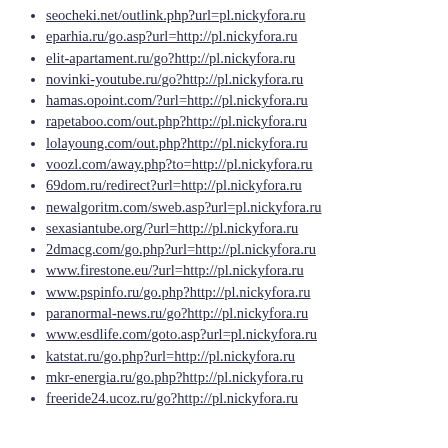seocheki.net/outlink.php?url=pl.nickyfora.ru
eparhia.ru/go.asp?url=http://pl.nickyfora.ru
elit-apartament.ru/go?http://pl.nickyfora.ru
novinki-youtube.ru/go?http://pl.nickyfora.ru
hamas.opoint.com/?url=http://pl.nickyfora.ru
rapetaboo.com/out.php?http://pl.nickyfora.ru
lolayoung.com/out.php?http://pl.nickyfora.ru
voozl.com/away.php?to=http://pl.nickyfora.ru
69dom.ru/redirect?url=http://pl.nickyfora.ru
newalgoritm.com/sweb.asp?url=pl.nickyfora.ru
sexasiantube.org/?url=http://pl.nickyfora.ru
2dmacg.com/go.php?url=http://pl.nickyfora.ru
www.firestone.eu/?url=http://pl.nickyfora.ru
www.pspinfo.ru/go.php?http://pl.nickyfora.ru
paranormal-news.ru/go?http://pl.nickyfora.ru
www.esdlife.com/goto.asp?url=pl.nickyfora.ru
katstat.ru/go.php?url=http://pl.nickyfora.ru
mkr-energia.ru/go.php?http://pl.nickyfora.ru
freeride24.ucoz.ru/go?http://pl.nickyfora.ru